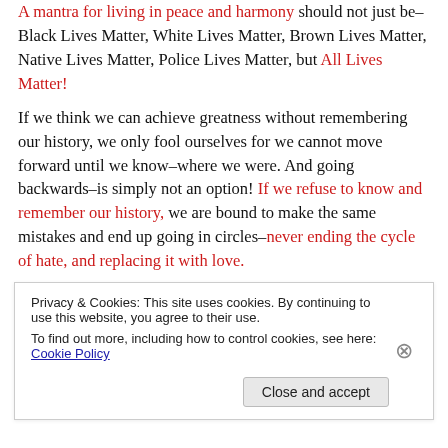A mantra for living in peace and harmony should not just be–Black Lives Matter, White Lives Matter, Brown Lives Matter, Native Lives Matter, Police Lives Matter, but All Lives Matter!
If we think we can achieve greatness without remembering our history, we only fool ourselves for we cannot move forward until we know–where we were. And going backwards–is simply not an option! If we refuse to know and remember our history, we are bound to make the same mistakes and end up going in circles–never ending the cycle of hate, and replacing it with love.
Privacy & Cookies: This site uses cookies. By continuing to use this website, you agree to their use. To find out more, including how to control cookies, see here: Cookie Policy